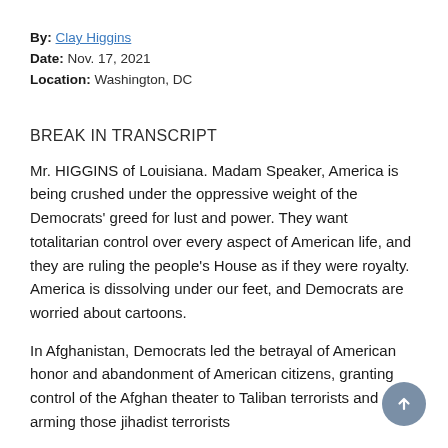By: Clay Higgins
Date: Nov. 17, 2021
Location: Washington, DC
BREAK IN TRANSCRIPT
Mr. HIGGINS of Louisiana. Madam Speaker, America is being crushed under the oppressive weight of the Democrats' greed for lust and power. They want totalitarian control over every aspect of American life, and they are ruling the people's House as if they were royalty. America is dissolving under our feet, and Democrats are worried about cartoons.
In Afghanistan, Democrats led the betrayal of American honor and abandonment of American citizens, granting control of the Afghan theater to Taliban terrorists and arming those jihadist terrorists